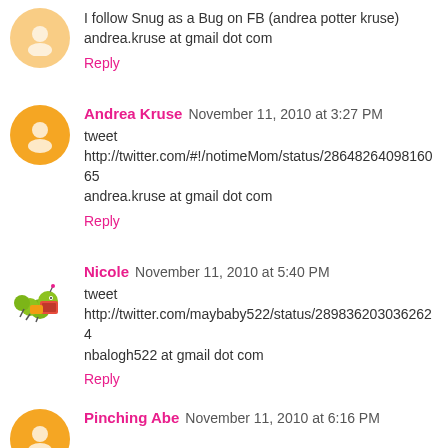I follow Snug as a Bug on FB (andrea potter kruse)
andrea.kruse at gmail dot com
Reply
Andrea Kruse  November 11, 2010 at 3:27 PM
tweet
http://twitter.com/#!/notimeMom/status/2864826409816065
andrea.kruse at gmail dot com
Reply
Nicole  November 11, 2010 at 5:40 PM
tweet
http://twitter.com/maybaby522/status/2898362030362624
nbalogh522 at gmail dot com
Reply
Pinching Abe  November 11, 2010 at 6:16 PM